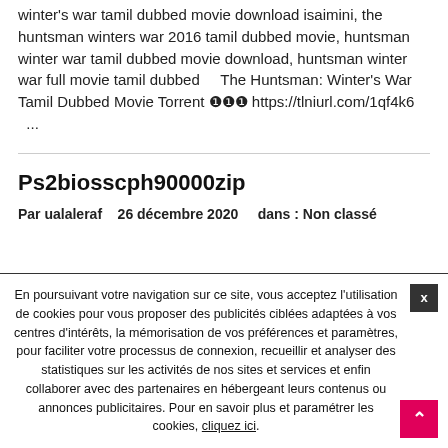winter's war tamil dubbed movie download isaimini, the huntsman winters war 2016 tamil dubbed movie, huntsman winter war tamil dubbed movie download, huntsman winter war full movie tamil dubbed    The Huntsman: Winter's War Tamil Dubbed Movie Torrent ❸❸❸ https://tlniurl.com/1qf4k6   ...
Ps2biosscph90000zip
Par ualaleraf   26 décembre 2020   dans : Non classé
En poursuivant votre navigation sur ce site, vous acceptez l'utilisation de cookies pour vous proposer des publicités ciblées adaptées à vos centres d'intérêts, la mémorisation de vos préférences et paramètres, pour faciliter votre processus de connexion, recueillir et analyser des statistiques sur les activités de nos sites et services et enfin collaborer avec des partenaires en hébergeant leurs contenus ou annonces publicitaires. Pour en savoir plus et paramétrer les cookies, cliquez ici.